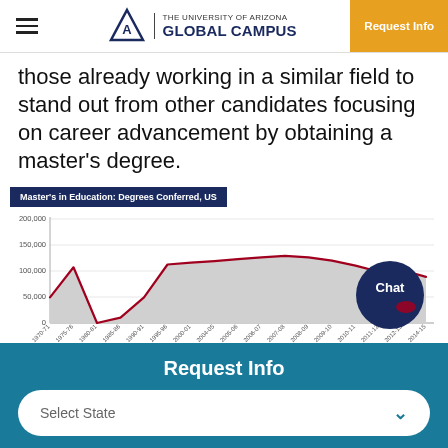THE UNIVERSITY OF ARIZONA GLOBAL CAMPUS | Request Info
those already working in a similar field to stand out from other candidates focusing on career advancement by obtaining a master's degree.
[Figure (area-chart): Master's in Education: Degrees Conferred, US]
Request Info
Select State